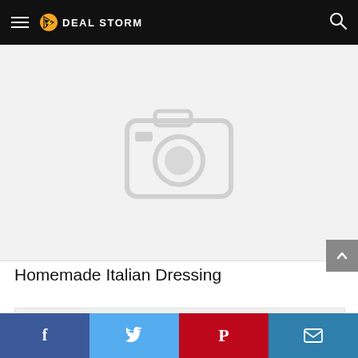DEAL STORM
[Figure (photo): Placeholder image with camera icon on light grey background]
Homemade Italian Dressing
[Figure (photo): Second content image placeholder, light grey background]
Facebook | Twitter | Pinterest | Email